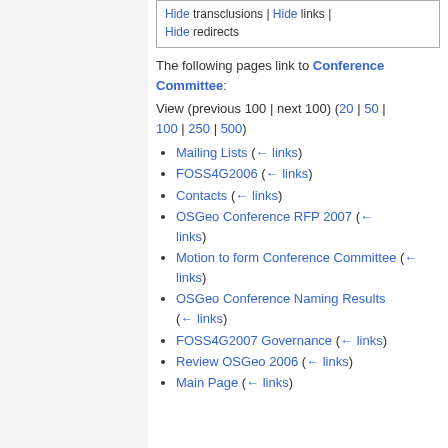Hide transclusions | Hide links | Hide redirects
The following pages link to Conference Committee:
View (previous 100 | next 100) (20 | 50 | 100 | 250 | 500)
Mailing Lists  (← links)
FOSS4G2006  (← links)
Contacts  (← links)
OSGeo Conference RFP 2007  (← links)
Motion to form Conference Committee  (← links)
OSGeo Conference Naming Results  (← links)
FOSS4G2007 Governance  (← links)
Review OSGeo 2006  (← links)
Main Page  (← links)